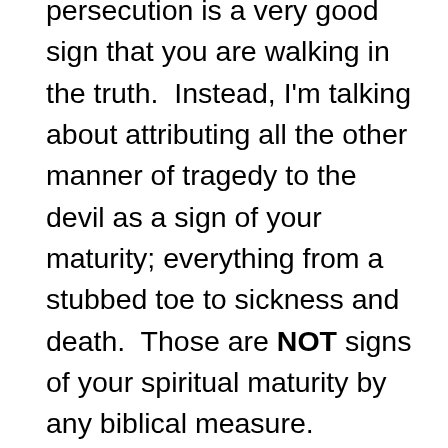persecution is a very good sign that you are walking in the truth.  Instead, I'm talking about attributing all the other manner of tragedy to the devil as a sign of your maturity; everything from a stubbed toe to sickness and death.  Those are NOT signs of your spiritual maturity by any biblical measure.

This kind of teaching gets people to put faith into expecting bad things to happen in their lives.  I once heard a lady say she was afraid to pray for her son because she